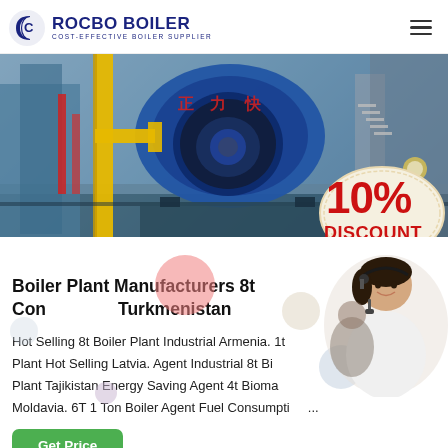[Figure (logo): ROCBO BOILER logo with crescent C icon and tagline COST-EFFECTIVE BOILER SUPPLIER]
[Figure (photo): Industrial boiler plant interior showing a large blue cylindrical boiler with Chinese characters, yellow pipes, blue machinery, and industrial equipment]
[Figure (infographic): 10% DISCOUNT promotional sticker badge in red and cream colors]
Boiler Plant Manufacturers 8t Con... Turkmenistan
Hot Selling 8t Boiler Plant Industrial Armenia. 1t... Plant Hot Selling Latvia. Agent Industrial 8t Bi... Plant Tajikistan Energy Saving Agent 4t Bioma... Moldavia. 6T 1 Ton Boiler Agent Fuel Consumpti... ...
[Figure (photo): Customer service representative woman wearing a headset, smiling]
Get Price